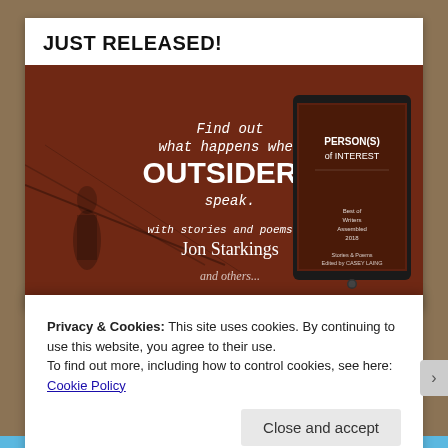JUST RELEASED!
[Figure (illustration): Book promotional banner with reddish-brown background showing text: 'Find out what happens when OUTSIDERS speak. with stories and poems by Jon Starkings' and a tablet device showing book cover 'PERSON(S) of INTEREST - Best of Writers Assembled 2018 - Stories & Poems Edited by CASEY LAING']
Privacy & Cookies: This site uses cookies. By continuing to use this website, you agree to their use.
To find out more, including how to control cookies, see here: Cookie Policy
Close and accept